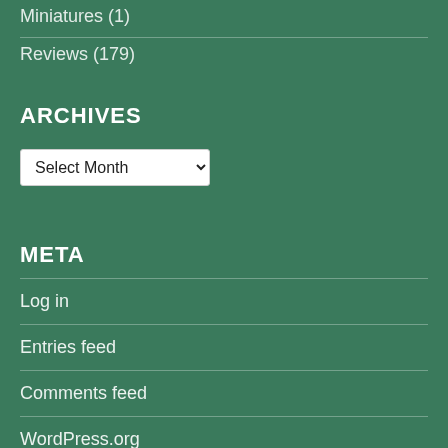Miniatures (1)
Reviews (179)
ARCHIVES
[Figure (other): Dropdown select element showing 'Select Month']
META
Log in
Entries feed
Comments feed
WordPress.org